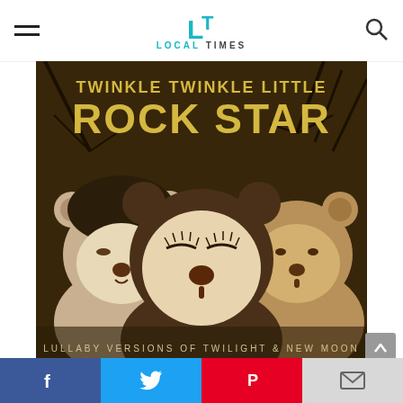LOCAL TIMES
[Figure (illustration): Album cover for Twinkle Twinkle Little Rock Star - Lullaby Versions of Twilight & New Moon. Features three cartoon bear/panda faces on a dark background with bare tree branches. Yellow text reads 'TWINKLE TWINKLE LITTLE ROCK STAR' and bottom text reads 'LULLABY VERSIONS OF TWILIGHT & NEW MOON'.]
Done All Wrong (Made Famous By Black Rebel Motorcycle Club)
Facebook | Twitter | Pinterest | Email